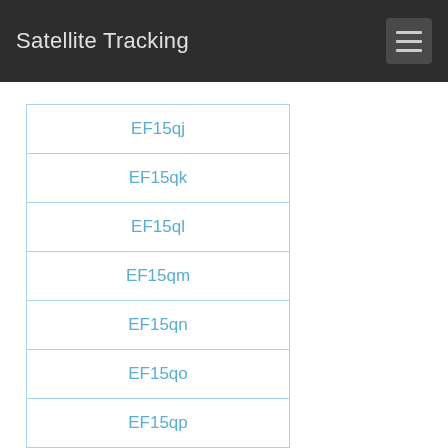Satellite Tracking
EF15qj
EF15qk
EF15ql
EF15qm
EF15qn
EF15qo
EF15qp
EF15qq
EF15qr
EF15qs
EF15qt
EF15qu
EF15qv
EF15qw
EF15qx
EF15ra
EF15rb